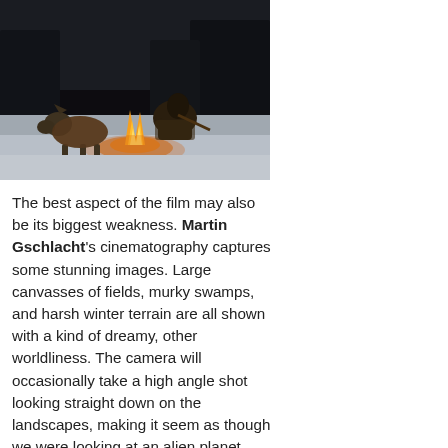[Figure (photo): Dark nighttime outdoor scene showing a person crouched in heavy furs/cloaks next to a wolf or large dog, with a small campfire glowing in the foreground on snowy ground. The background shows dark trees.]
The best aspect of the film may also be its biggest weakness. Martin Gschlacht's cinematography captures some stunning images. Large canvasses of fields, murky swamps, and harsh winter terrain are all shown with a kind of dreamy, other worldliness. The camera will occasionally take a high angle shot looking straight down on the landscapes, making it seem as though we were looking at an alien planet from a satellite telescope. Hughes makes reference to this world being caught in the middle of a transitional period. Between scenes, we are given